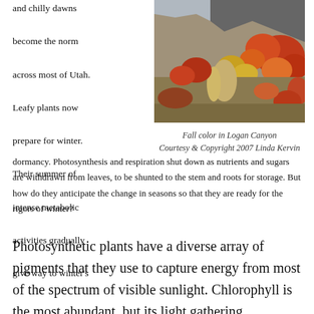and chilly dawns become the norm across most of Utah. Leafy plants now prepare for winter. Their summer of intense metabolic activities gradually give way to winter's dormancy.
[Figure (photo): Autumn foliage with red, orange, and yellow shrubs and trees against a rocky mountain backdrop in Logan Canyon, Utah.]
Fall color in Logan Canyon
Courtesy & Copyright 2007 Linda Kervin
Photosynthesis and respiration shut down as nutrients and sugars are withdrawn from leaves, to be shunted to the stem and roots for storage. But how do they anticipate the change in seasons so that they are ready for the rigors of winter?
Photosynthetic plants have a diverse array of pigments that they use to capture energy from most of the spectrum of visible sunlight. Chlorophyll is the most abundant, but its light gathering effectiveness is limited to a narrow band of the light spectrum. Plants employ